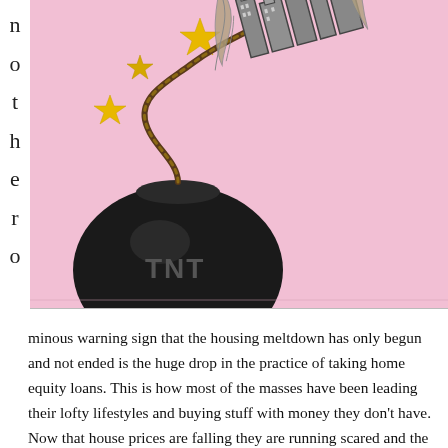[Figure (illustration): Editorial cartoon/illustration showing a large TNT bomb with a burning fuse that curves upward and transforms into a dollar bill with buildings and structures on top, set against a pink background with gold stars. The image depicts the housing/financial crisis as a TNT bomb about to explode, with the dollar/economy shown being launched upward.]
minous warning sign that the housing meltdown has only begun and not ended is the huge drop in the practice of taking home equity loans. This is how most of the masses have been leading their lofty lifestyles and buying stuff with money they don't have. Now that house prices are falling they are running scared and the worst part is that their bill has increased significantly. To put things into perspective, there was 52% drop in home equity